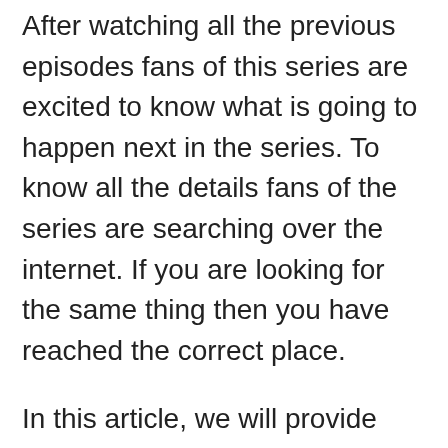After watching all the previous episodes fans of this series are excited to know what is going to happen next in the series. To know all the details fans of the series are searching over the internet. If you are looking for the same thing then you have reached the correct place.
In this article, we will provide you with all the details like where you can watch this series, When episode 8 is going to release, Its episode count, Cast, and many other details related to this series. Just read this article till the end.
You can also read: Cubicles Season 3 Episode 1 Release Date